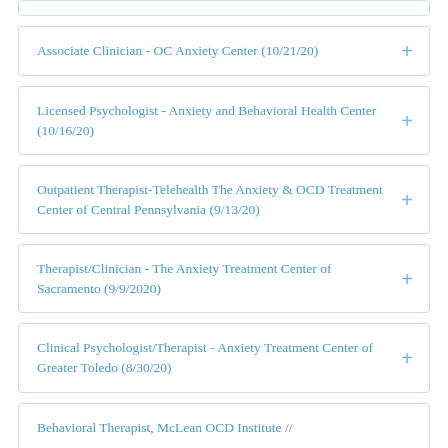Associate Clinician - OC Anxiety Center (10/21/20)
Licensed Psychologist - Anxiety and Behavioral Health Center (10/16/20)
Outpatient Therapist-Telehealth The Anxiety & OCD Treatment Center of Central Pennsylvania (9/13/20)
Therapist/Clinician - The Anxiety Treatment Center of Sacramento (9/9/2020)
Clinical Psychologist/Therapist - Anxiety Treatment Center of Greater Toledo (8/30/20)
Behavioral Therapist, McLean OCD Institute //